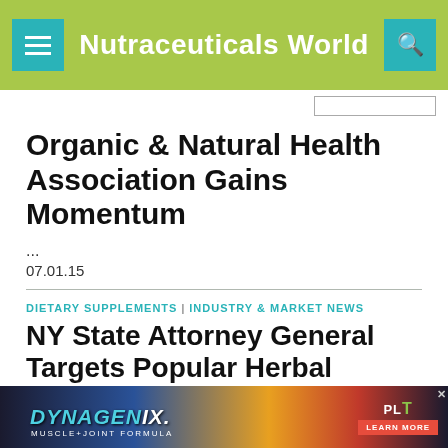Nutraceuticals World
Organic & Natural Health Association Gains Momentum
...
07.01.15
DIETARY SUPPLEMENTS | INDUSTRY & MARKET NEWS
NY State Attorney General Targets Popular Herbal
[Figure (screenshot): Advertisement banner for DYNAGENIX Muscle+Joint Formula and PLT Health Solutions with 'LEARN MORE' button]